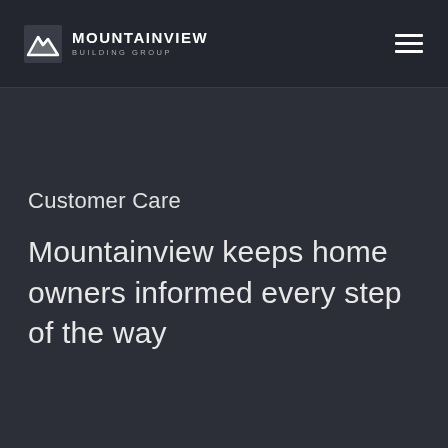[Figure (logo): Mountainview Building Group logo with mountain icon and text]
Customer Care
Mountainview keeps home owners informed every step of the way